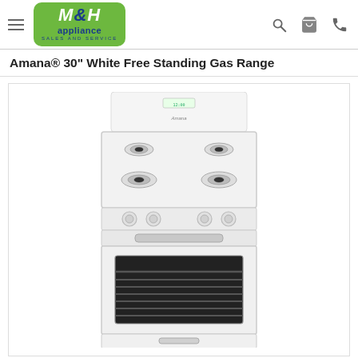[Figure (logo): M&H Appliance Sales and Service logo in green rounded rectangle with blue text]
Amana® 30" White Free Standing Gas Range
[Figure (photo): Photo of a white Amana 30-inch free standing gas range with 4 burners on top and black oven window]